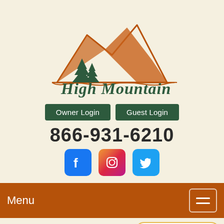[Figure (logo): High Mountain Cabin Rentals logo with mountain silhouette and pine trees in orange/brown and dark green, with handwritten-style text 'High Mountain Cabin Rentals']
Owner Login  Guest Login
866-931-6210
[Figure (illustration): Facebook, Instagram, and Twitter social media icons]
Menu
✉ Questions?  ➤ Em...
Support Offline
Leave a message
Donegal Cabi...